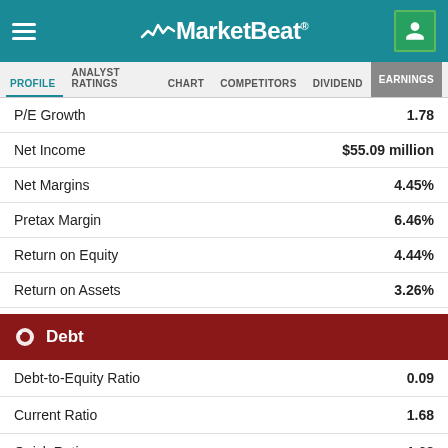MarketBeat
PROFILE  ANALYST RATINGS  CHART  COMPETITORS  DIVIDEND  EARNINGS
| Metric | Value |
| --- | --- |
| P/E Growth | 1.78 |
| Net Income | $55.09 million |
| Net Margins | 4.45% |
| Pretax Margin | 6.46% |
| Return on Equity | 4.44% |
| Return on Assets | 3.26% |
Debt
| Metric | Value |
| --- | --- |
| Debt-to-Equity Ratio | 0.09 |
| Current Ratio | 1.68 |
| Quick Ratio | 1.68 |
Sales & Book Value
| Metric | Value |
| --- | --- |
| Annual Sales | $1.13 billion |